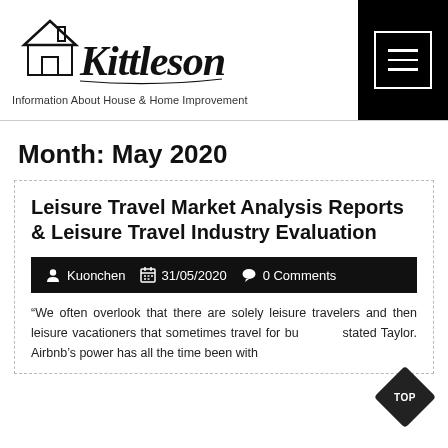[Figure (logo): Kittleson script logo with house icon]
Information About House & Home Improvement
Month: May 2020
Leisure Travel Market Analysis Reports & Leisure Travel Industry Evaluation
Kuonchen  31/05/2020  0 Comments
“We often overlook that there are solely leisure travelers and then leisure vacationers that sometimes travel for bu... stated Taylor. Airbnb’s power has all the time been with an